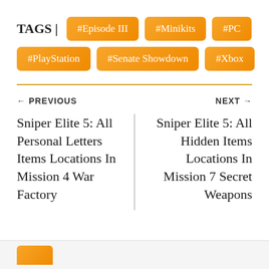TAGS |
#Episode III
#Minikits
#PC
#PlayStation
#Senate Showdown
#Xbox
← PREVIOUS
NEXT →
Sniper Elite 5: All Personal Letters Items Locations In Mission 4 War Factory
Sniper Elite 5: All Hidden Items Locations In Mission 7 Secret Weapons